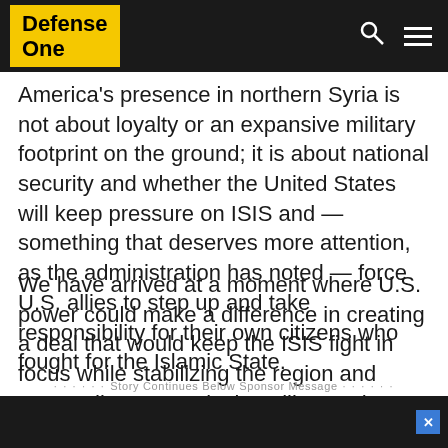Defense One
America's presence in northern Syria is not about loyalty or an expansive military footprint on the ground; it is about national security and whether the United States will keep pressure on ISIS and — something that deserves more attention, as the administration has noted — force U.S. allies to step up and take responsibility for their own citizens who fought for the Islamic State.
We have arrived at a moment where U.S. power could make a difference in creating a deal that would keep the ISIS fight in focus while stabilizing the region and succeeding at convincing allies to share more of the burden. Or the U.S. can decide to leave their battlefield partner to face on its own a NATO ally.
· · · · · · Story Continues Below Sponsor Message · · · · · ·
[Figure (other): Dark advertisement bar at bottom of page with blue close button marked X]